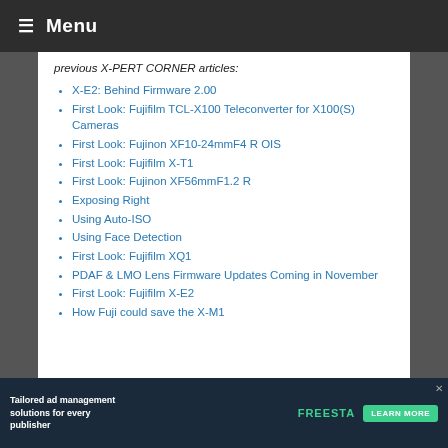≡ Menu
previous X-PERT CORNER articles:
X-E2: Behind Firmware 2.00
First Look: Fujifilm TCL-X100 Teleconverter for X100(S) Cameras
First Look: Fujinon XF10-24mmF4 R OIS
First Look: Fujifilm X-T1
First Look: Fujinon XF56mmF1.2 R
Exposing Right
Using Auto-ISO
Using Face Detection
First Look: Fujifilm XQ1
PDAF & LMO Lens Firmware Updates Coming in November
First Look: Fujifilm X-E2
How Fuji could save the X-M1
Tailored ad management solutions for every publisher | FREESTA... LEARN MORE